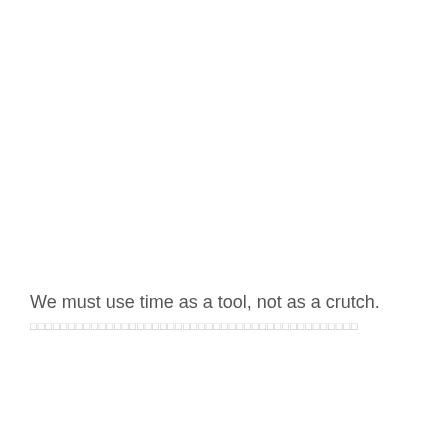We must use time as a tool, not as a crutch.
□□□□□□□□□□□□□□□□□□□□□□□□□□□□□□□□□□□□□□□□□□□